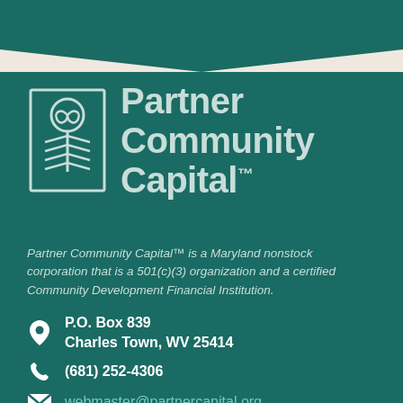[Figure (logo): Partner Community Capital logo with stylized plant/leaf icon in teal outline and company name text]
Partner Community Capital™ is a Maryland nonstock corporation that is a 501(c)(3) organization and a certified Community Development Financial Institution.
P.O. Box 839
Charles Town, WV 25414
(681) 252-4306
webmaster@partnercapital.org